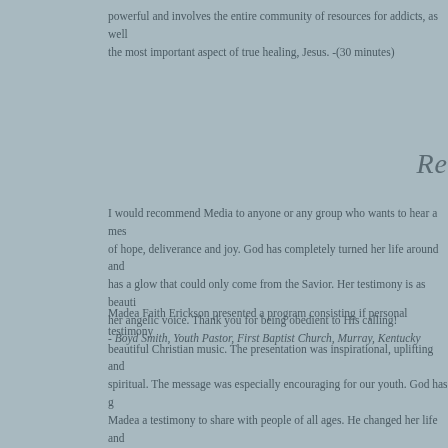powerful and involves the entire community of resources for addicts, as well as the most important aspect of true healing, Jesus. -(30 minutes)
Re
I would recommend Media to anyone or any group who wants to hear a message of hope, deliverance and joy. God has completely turned her life around and she has a glow that could only come from the Savior. Her testimony is as beautiful as her angelic voice. Thank you for being obedient to His calling!
- Boyd Smith, Youth Pastor, First Baptist Church, Murray, Kentucky
Madea Faith Erickson presented a program consisting if personal testimony and beautiful Christian music. The presentation was inspirational, uplifting and spiritual. The message was especially encouraging for our youth. God has given Madea a testimony to share with people of all ages. He changed her life and gave it purpose. Madea is extremely talented and committed to using her talents for the glory of God.
-Pastor Howard Welch, Independence United Methodist Church, Almo, Ken